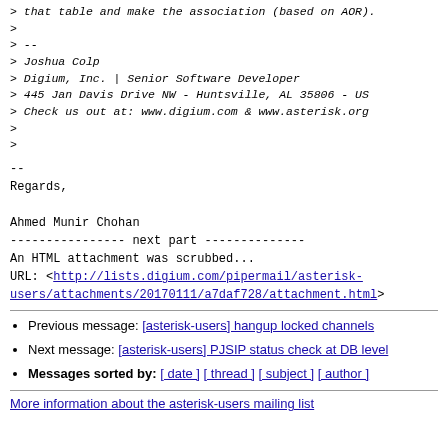> that table and make the association (based on AOR).
>
> --
> Joshua Colp
> Digium, Inc. | Senior Software Developer
> 445 Jan Davis Drive NW - Huntsville, AL 35806 - US
> Check us out at: www.digium.com & www.asterisk.org
>
>
--
Regards,

Ahmed Munir Chohan
---------------- next part --------------
An HTML attachment was scrubbed...
URL: <http://lists.digium.com/pipermail/asterisk-users/attachments/20170111/a7daf728/attachment.html>
Previous message: [asterisk-users] hangup locked channels
Next message: [asterisk-users] PJSIP status check at DB level
Messages sorted by: [ date ] [ thread ] [ subject ] [ author ]
More information about the asterisk-users mailing list